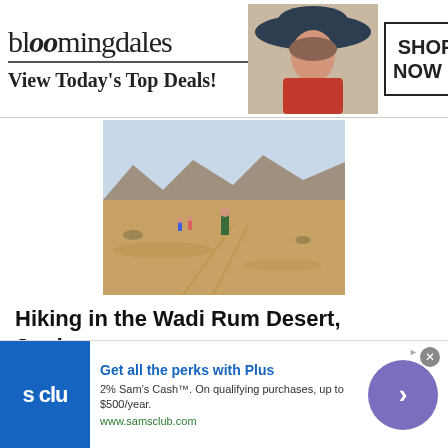[Figure (screenshot): Bloomingdales advertisement banner: logo, 'View Today's Top Deals!', model photo, SHOP NOW button]
[Figure (photo): Desert landscape photo: hikers walking in sandy Wadi Rum desert with mountains in background]
Hiking in the Wadi Rum Desert, Jordan
Posted on October 2, 2013
“You ain’t exactly sure if you’ve been away a while” – Noel Gallagher. As the clock struck midnight on the 26th September 2013, I had hit that milestone I never thought
[Figure (screenshot): Sam's Club advertisement: 's clu' logo, 'Get all the perks with Plus', '2% Sam’s Cash™. On qualifying purchases, up to $500/year.', www.samsclub.com, arrow button]